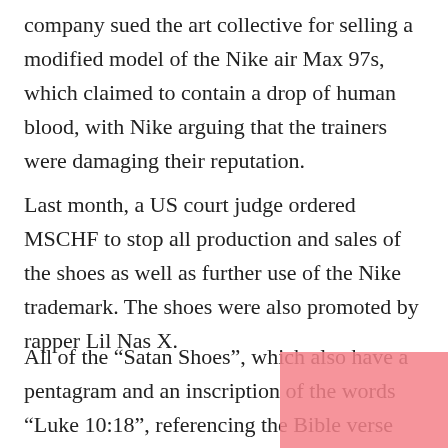company sued the art collective for selling a modified model of the Nike air Max 97s, which claimed to contain a drop of human blood, with Nike arguing that the trainers were damaging their reputation.
Last month, a US court judge ordered MSCHF to stop all production and sales of the shoes as well as further use of the Nike trademark. The shoes were also promoted by rapper Lil Nas X.
All of the “Satan Shoes”, which also have a pentagram and an inscription of the words “Luke 10:18”, referencing the Bible verse “He replied, ‘I saw Satan fall like lightning from heaven,” were sold in less than a minute of release and there were